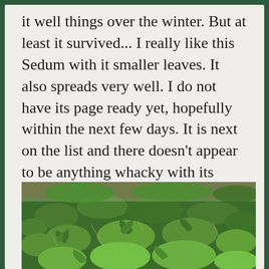it well things over the winter. But at least it survived... I really like this Sedum with it smaller leaves. It also spreads very well. I do not have its page ready yet, hopefully within the next few days. It is next on the list and there doesn't appear to be anything whacky with its name.
[Figure (photo): Close-up photograph of a Sedum plant with small, tightly clustered green rosette leaves spreading across the ground, with some dried straw visible between the plants.]